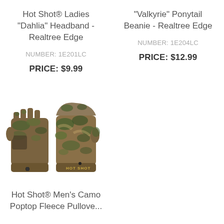Hot Shot® Ladies "Dahlia" Headband - Realtree Edge
NUMBER: 1E201LC
PRICE: $9.99
"Valkyrie" Ponytail Beanie - Realtree Edge
NUMBER: 1E204LC
PRICE: $12.99
[Figure (photo): Two camouflage fingerless/poptop gloves shown side by side, Realtree Edge camo pattern, brown and green]
Hot Shot® Men's Camo Poptop Fleece Pullove...